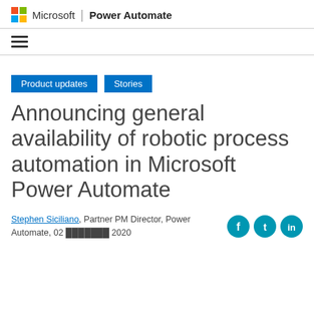Microsoft | Power Automate
[Figure (logo): Microsoft logo (four colored squares: red, green, blue, yellow) followed by 'Microsoft | Power Automate' text]
Hamburger menu icon (three horizontal lines)
Product updates   Stories
Announcing general availability of robotic process automation in Microsoft Power Automate
Stephen Siciliano, Partner PM Director, Power Automate, 02 ███████ 2020